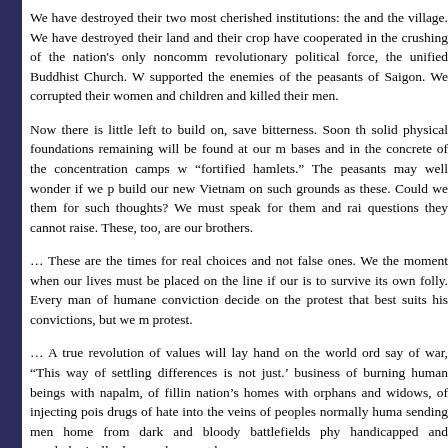We have destroyed their two most cherished institutions: the and the village. We have destroyed their land and their crop have cooperated in the crushing of the nation's only noncomm revolutionary political force, the unified Buddhist Church. W supported the enemies of the peasants of Saigon. We corrupted their women and children and killed their men.
Now there is little left to build on, save bitterness. Soon th solid physical foundations remaining will be found at our m bases and in the concrete of the concentration camps w “fortified hamlets.” The peasants may well wonder if we p build our new Vietnam on such grounds as these. Could we them for such thoughts? We must speak for them and rai questions they cannot raise. These, too, are our brothers.
… These are the times for real choices and not false ones. We the moment when our lives must be placed on the line if our is to survive its own folly. Every man of humane conviction decide on the protest that best suits his convictions, but we m protest.
… A true revolution of values will lay hand on the world ord say of war, “This way of settling differences is not just.’ business of burning human beings with napalm, of fillin nation’s homes with orphans and widows, of injecting pois drugs of hate into the veins of peoples normally huma sending men home from dark and bloody battlefields phy handicapped and psychologically deranged, cannot be reco